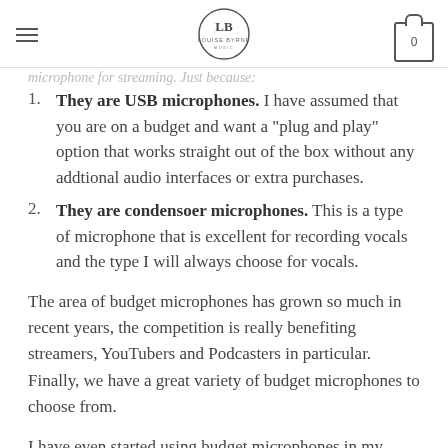Louise Byrne Music
microphone for streaming. Just because:
1. They are USB microphones. I have assumed that you are on a budget and want a "plug and play" option that works straight out of the box without any addtional audio interfaces or extra purchases.
2. They are condensoer microphones. This is a type of microphone that is excellent for recording vocals and the type I will always choose for vocals.
The area of budget microphones has grown so much in recent years, the competition is really benefiting streamers, YouTubers and Podcasters in particular. Finally, we have a great variety of budget microphones to choose from.
I have even started using budget microphones in my professional recording studio as the quality these mics can record for less than $100 is still mind-blowing to me. Yes, I